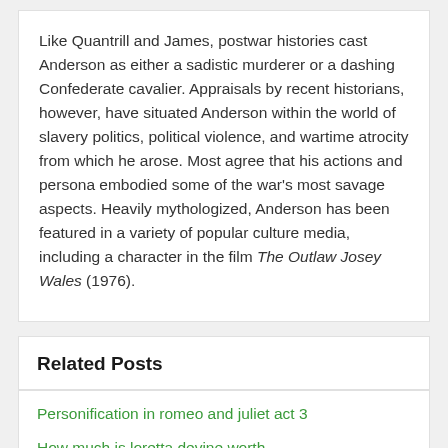Like Quantrill and James, postwar histories cast Anderson as either a sadistic murderer or a dashing Confederate cavalier. Appraisals by recent historians, however, have situated Anderson within the world of slavery politics, political violence, and wartime atrocity from which he arose. Most agree that his actions and persona embodied some of the war's most savage aspects. Heavily mythologized, Anderson has been featured in a variety of popular culture media, including a character in the film The Outlaw Josey Wales (1976).
Related Posts
Personification in romeo and juliet act 3
How much is loretta devine worth